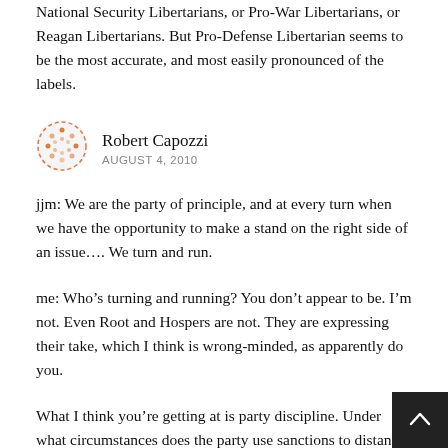National Security Libertarians, or Pro-War Libertarians, or Reagan Libertarians. But Pro-Defense Libertarian seems to be the most accurate, and most easily pronounced of the labels.
[Figure (illustration): Circular avatar icon with orange dot pattern on white background]
Robert Capozzi
AUGUST 4, 2010
jjm: We are the party of principle, and at every turn when we have the opportunity to make a stand on the right side of an issue.... We turn and run.
me: Who’s turning and running? You don’t appear to be. I’m not. Even Root and Hospers are not. They are expressing their take, which I think is wrong-minded, as apparently do you.
What I think you’re getting at is party discipline. Under what circumstances does the party use sanctions to distance itself from an especially off-the-reservation public pronouncement, one that threatens to seriously damage the brand.
Good question. Milnes’s answer doesn’t cut it for me. Perha